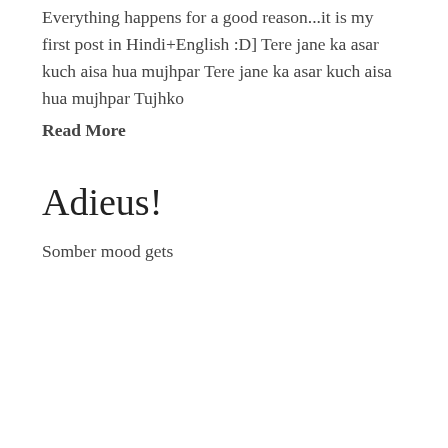Everything happens for a good reason...it is my first post in Hindi+English :D] Tere jane ka asar kuch aisa hua mujhpar Tere jane ka asar kuch aisa hua mujhpar Tujhko
Read More
Adieus!
Somber mood gets